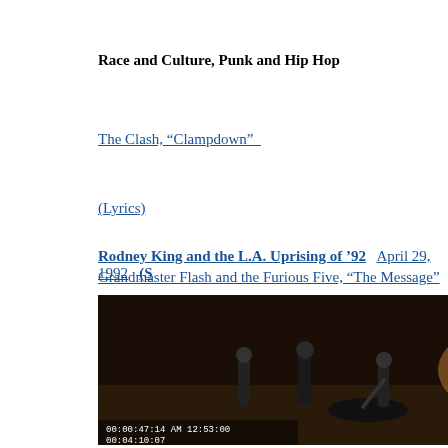Race and Culture, Punk and Hip Hop
The Clash, “Clampdown”
(Lyrics)
Grandmaster Flash and the Furious Five, “The Message”
Race and racial politics in the Reagan Years   Willie Horton A
Rodney King and the L.A. Uprising of ’92   April 29, 1992   (S
[Figure (photo): Rodney King beating video still showing figures on the ground being beaten, with timestamp overlay reading 00:00:47:14 AM 12:53:00 and 00:04:10:07]